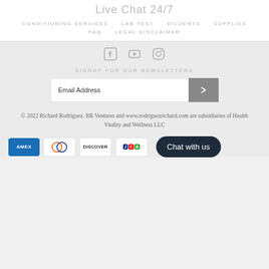Live Chat 24/7
CONDITIONING SERVICES
LAB TEST
DILUENTS
SUPPLIES
FAQ
LEGAL DISCLAIMER
[Figure (logo): Social media icons: Facebook, YouTube, Instagram]
SIGNUP FOR OUR NEWSLETTERS
[Figure (other): Email Address input field with submit button arrow]
© 2022 Richard Rodriguez. RR Ventures and www.rodriguezrichard.com are subsidiaries of Health Vitality and Wellness LLC
[Figure (other): Payment method logos: AMEX, Diners Club, Discover, JCB; Chat with us button]